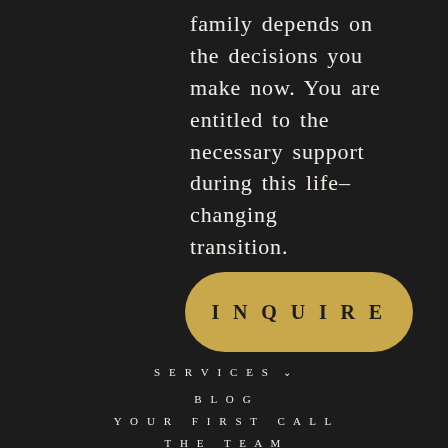family depends on the decisions you make now. You are entitled to the necessary support during this life-changing transition.
[Figure (other): Gold rounded rectangle button with text INQUIRE in dark lettering]
SERVICES ▾
BLOG
YOUR FIRST CALL
THE TEAM